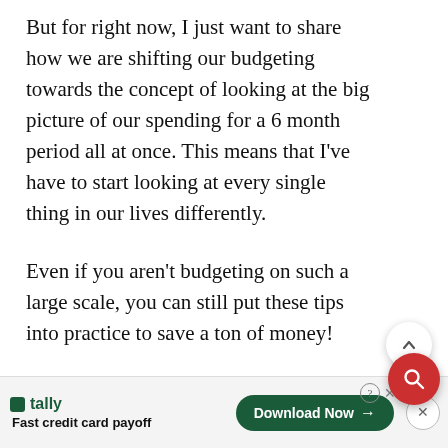But for right now, I just want to share how we are shifting our budgeting towards the concept of looking at the big picture of our spending for a 6 month period all at once. This means that I've have to start looking at every single thing in our lives differently.
Even if you aren't budgeting on such a large scale, you can still put these tips into practice to save a ton of money!
[Figure (photo): An advertisement banner showing US dollar bills in the background with green italic bold text reading 'IT'S EASY TO FORGET THAT' and partially visible text below. Below the image is an ad bar for Tally showing 'Fast credit card payoff' with a 'Download Now' button.]